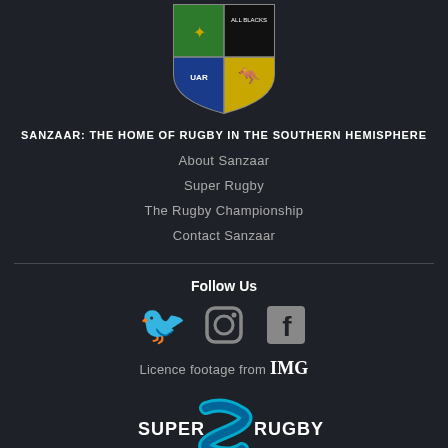[Figure (logo): SANZAAR shield logo with four quadrants: green with springbok, black with All Blacks fern, blue with UAR logo, gold with kangaroo]
SANZAAR: THE HOME OF RUGBY IN THE SOUTHERN HEMISPHERE
About Sanzaar
Super Rugby
The Rugby Championship
Contact Sanzaar
Follow Us
[Figure (illustration): Social media icons: Twitter bird, Instagram camera, Facebook f]
Licence footage from IMG
[Figure (logo): Super Rugby logo with stylized S and text Super Rugby]